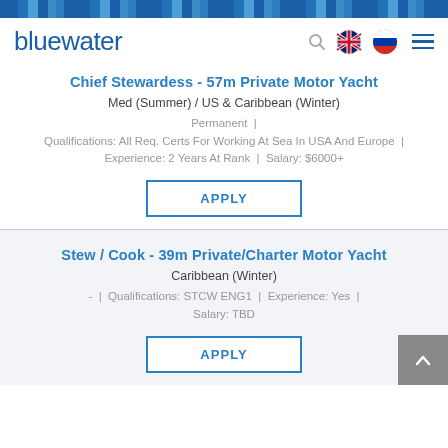bluewater
Chief Stewardess - 57m Private Motor Yacht
Med (Summer) / US & Caribbean (Winter)
Permanent | Qualifications: All Req. Certs For Working At Sea In USA And Europe
Experience: 2 Years At Rank | Salary: $6000+
APPLY
Stew / Cook - 39m Private/Charter Motor Yacht
Caribbean (Winter)
- | Qualifications: STCW ENG1 | Experience: Yes | Salary: TBD
APPLY